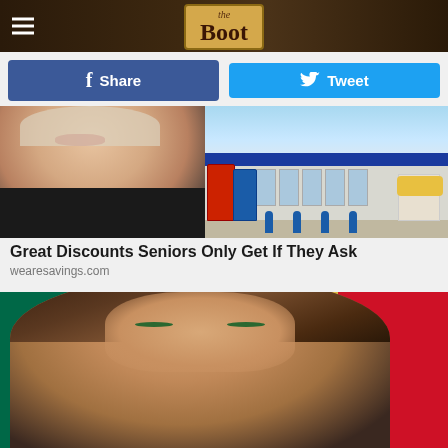the Boot
Share  Tweet
[Figure (photo): Ad image showing an elderly woman's face (left) and a Walmart store exterior (right)]
Great Discounts Seniors Only Get If They Ask
wearesavings.com
[Figure (photo): Ad image showing a woman in front of a Mexican flag background]